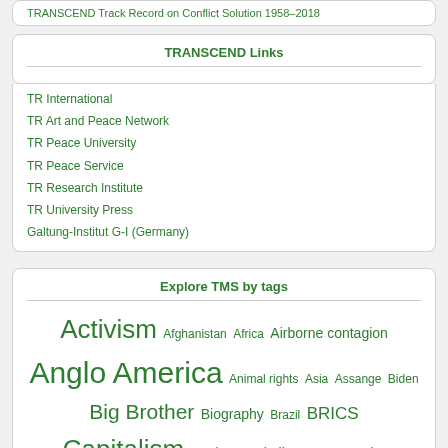TRANSCEND Track Record on Conflict Solution 1958–2018
TRANSCEND Links
TR International
TR Art and Peace Network
TR Peace University
TR Peace Service
TR Research Institute
TR University Press
Galtung-Institut G-I (Germany)
Explore TMS by tags
Activism Afghanistan Africa Airborne contagion Anglo America Animal rights Asia Assange Biden Big Brother Biography Brazil BRICS Capitalism Casino Capitalism Catastrophe Capitalism China CIA Climate Change Community Compassion Conflict Conspiracy Theories Coronavirus Corruption COVID-19 Cuba Cultural violence Culture Democracy Development Direct violence Disaster Capitalism Economics Economy Energy Elites